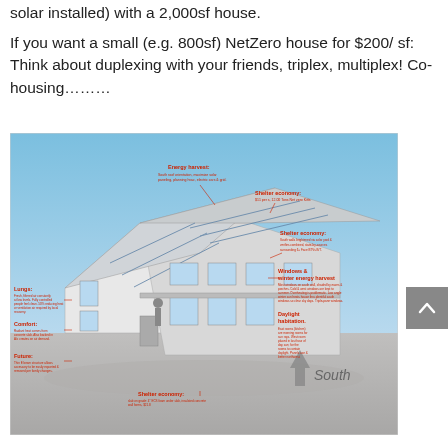solar installed) with a 2,000sf house.
If you want a small (e.g. 800sf) NetZero house for $200/ sf: Think about duplexing with your friends, triplex, multiplex! Co-housing………
[Figure (illustration): Architectural diagram of a NetZero house showing annotated features including: Energy harvest (south roof orientation, solar panels), Shelter economy (multiple annotations), Lungs (fresh air ventilation), Comfort (radiant heat), Future (lean urban design), Windows & winter energy harvest, Daylight habitation, with a 'South' directional arrow. The house is a two-story structure with solar panels on the south-facing roof and large south-facing windows.]